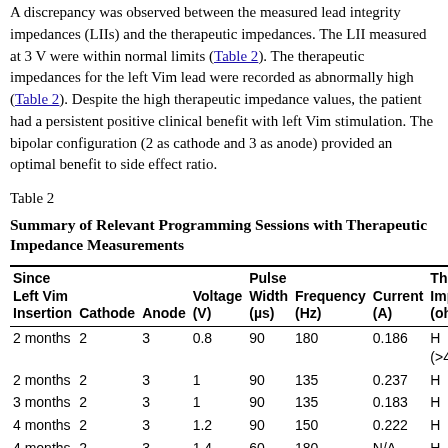A discrepancy was observed between the measured lead integrity impedances (LIIs) and the therapeutic impedances. The LII measured at 3 V were within normal limits (Table 2). The therapeutic impedances for the left Vim lead were recorded as abnormally high (Table 2). Despite the high therapeutic impedance values, the patient had a persistent positive clinical benefit with left Vim stimulation. The bipolar configuration (2 as cathode and 3 as anode) provided an optimal benefit to side effect ratio.
Table 2
Summary of Relevant Programming Sessions with Therapeutic Impedance Measurements
| Since Left Vim Insertion | Cathode | Anode | Voltage (V) | Pulse Width (µs) | Frequency (Hz) | Current (A) | Thera Impe (oh |
| --- | --- | --- | --- | --- | --- | --- | --- |
| 2 months | 2 | 3 | 0.8 | 90 | 180 | 0.186 | H (>4 |
| 2 months | 2 | 3 | 1 | 90 | 135 | 0.237 | H |
| 3 months | 2 | 3 | 1 | 90 | 135 | 0.183 | H |
| 4 months | 2 | 3 | 1.2 | 90 | 150 | 0.222 | H |
| 4 months | 2 | 3 | 1.4 | 60 | 180 | N/A | H |
| 5 months | 2 | 3 | 1.8 | 60 | 180 | 0.458 | H |